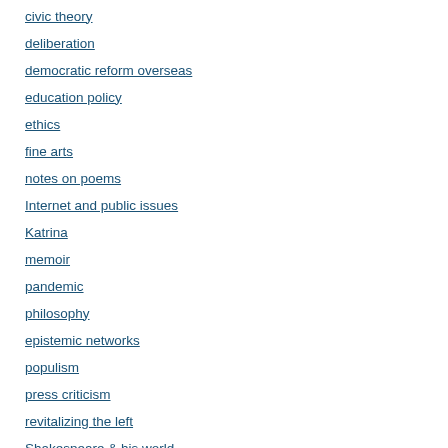civic theory
deliberation
democratic reform overseas
education policy
ethics
fine arts
notes on poems
Internet and public issues
Katrina
memoir
pandemic
philosophy
epistemic networks
populism
press criticism
revitalizing the left
Shakespeare & his world
The Middle East